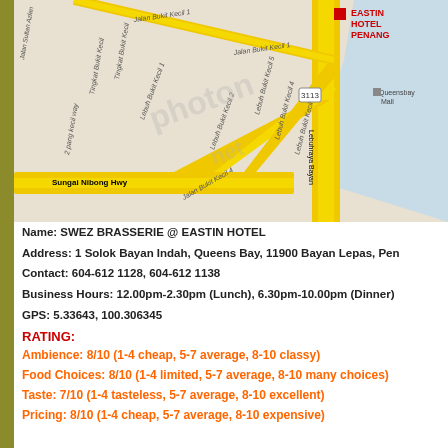[Figure (map): Street map showing Eastin Hotel Penang location near Queensbay Mall, with roads including Jalan Bukit Kecil, Lebuh Bukit Kecil, Sungai Nibong Hwy, and Lebuhraya Bayan. Red label for Eastin Hotel Penang visible top right. Direction to Batu Maung/Penang International Airport shown bottom center.]
Name: SWEZ BRASSERIE @ EASTIN HOTEL
Address: 1 Solok Bayan Indah, Queens Bay, 11900 Bayan Lepas, Pen
Contact: 604-612 1128, 604-612 1138
Business Hours: 12.00pm-2.30pm (Lunch), 6.30pm-10.00pm (Dinner)
GPS: 5.33643, 100.306345
RATING:
Ambience: 8/10 (1-4 cheap, 5-7 average, 8-10 classy)
Food Choices: 8/10 (1-4 limited, 5-7 average, 8-10 many choices)
Taste: 7/10 (1-4 tasteless, 5-7 average, 8-10 excellent)
Pricing: 8/10 (1-4 cheap, 5-7 average, 8-10 expensive)